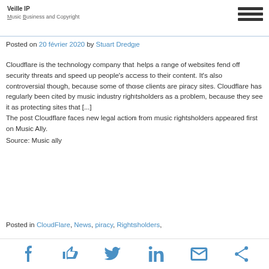Veille IP
Music Business and Copyright
Posted on 20 février 2020 by Stuart Dredge
Cloudflare is the technology company that helps a range of websites fend off security threats and speed up people's access to their content. It's also controversial though, because some of those clients are piracy sites. Cloudflare has regularly been cited by music industry rightsholders as a problem, because they see it as protecting sites that [...]
The post Cloudflare faces new legal action from music rightsholders appeared first on Music Ally.
Source: Music ally
Posted in CloudFlare, News, piracy, Rightsholders,
social share icons: facebook, like, twitter, linkedin, email, share